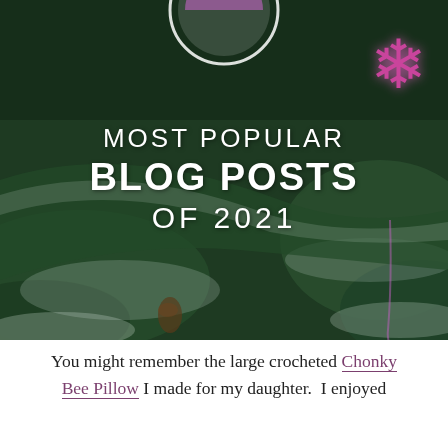[Figure (photo): Frost-covered pine tree branches with a pink glittery snowflake decoration in the upper right corner. Overlaid with text: 'MOST POPULAR BLOG POSTS OF 2021' in white. A circular logo/badge is partially visible at the top center.]
You might remember the large crocheted Chonky Bee Pillow I made for my daughter.  I enjoyed